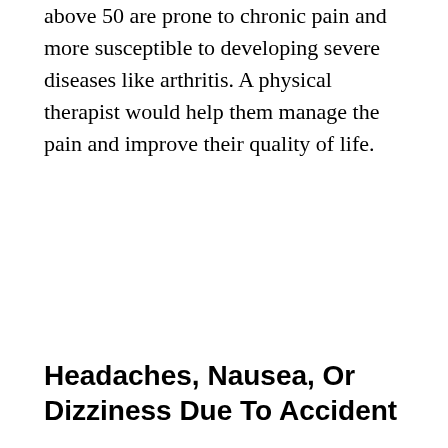above 50 are prone to chronic pain and more susceptible to developing severe diseases like arthritis. A physical therapist would help them manage the pain and improve their quality of life.
Headaches, Nausea, Or Dizziness Due To Accident